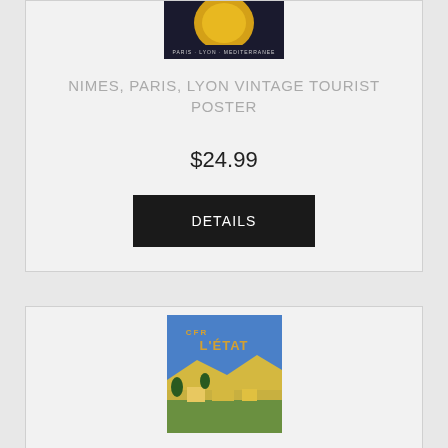[Figure (photo): Vintage tourist poster thumbnail for Nimes Paris Lyon Mediterranee, showing a yellow/orange circular design against dark background]
NIMES, PARIS, LYON VINTAGE TOURIST POSTER
$24.99
DETAILS
[Figure (photo): Vintage tourist poster thumbnail for CFR L'ETAT, showing a scenic landscape with blue sky, cliffs, and rural buildings]